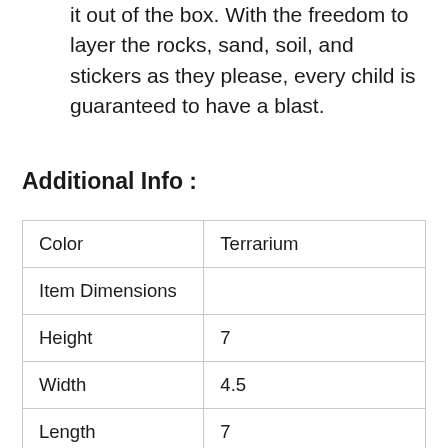it out of the box. With the freedom to layer the rocks, sand, soil, and stickers as they please, every child is guaranteed to have a blast.
Additional Info :
| Color | Terrarium |
| Item Dimensions |  |
| Height | 7 |
| Width | 4.5 |
| Length | 7 |
| Weight | 0.5 |